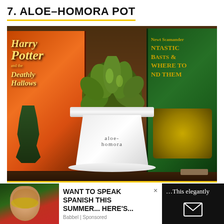7. ALOE–HOMORA POT
[Figure (photo): A white painted terracotta pot with 'aloe-homora' written on it, containing a succulent plant, placed on a wooden shelf between Harry Potter and the Deathly Hallows book (orange cover) and a green Fantastic Beasts and Where to Find Them journal.]
[Figure (infographic): Bottom advertisement section: left photo of person with face paint in Mexican flag colors, middle text ad 'WANT TO SPEAK SPANISH THIS SUMMER... HERE'S...' with Babbel Sponsored label and X close button, right dark panel with '...This elegantly' text and envelope icon.]